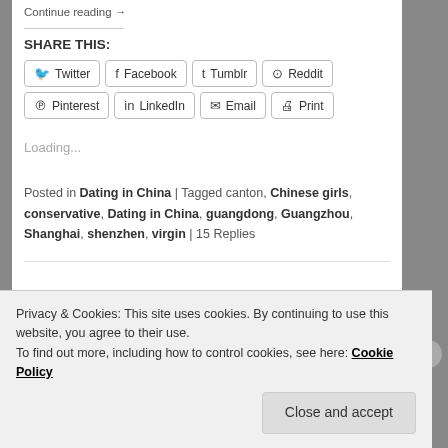Continue reading →
SHARE THIS:
Twitter  Facebook  Tumblr  Reddit  Pinterest  LinkedIn  Email  Print
Loading...
Posted in Dating in China | Tagged canton, Chinese girls, conservative, Dating in China, guangdong, Guangzhou, Shanghai, shenzhen, virgin | 15 Replies
Privacy & Cookies: This site uses cookies. By continuing to use this website, you agree to their use.
To find out more, including how to control cookies, see here: Cookie Policy
Close and accept